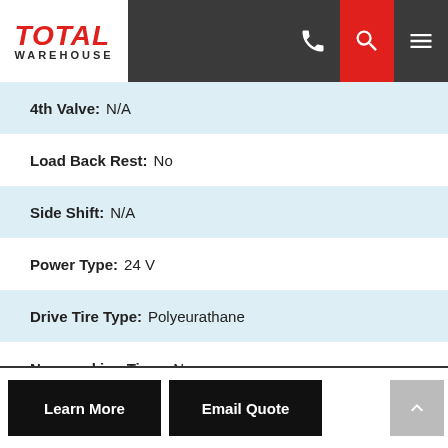Total Warehouse - navigation header
4th Valve: N/A
Load Back Rest: No
Side Shift: N/A
Power Type: 24 V
Drive Tire Type: Polyeurathane
Non-marking Tires: No
Steer Tire Type: Polyeurathane
Lease 36 Months: $ 436.5
Lease 60 Months: $ 291